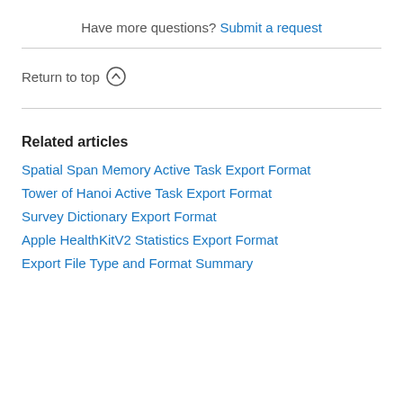Have more questions? Submit a request
Return to top ↑
Related articles
Spatial Span Memory Active Task Export Format
Tower of Hanoi Active Task Export Format
Survey Dictionary Export Format
Apple HealthKitV2 Statistics Export Format
Export File Type and Format Summary